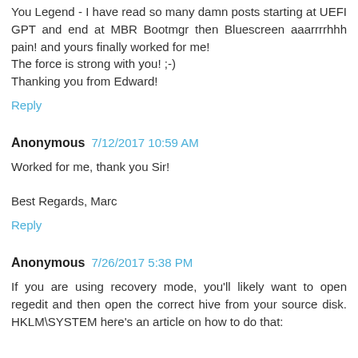You Legend - I have read so many damn posts starting at UEFI GPT and end at MBR Bootmgr then Bluescreen aaarrrrhhh pain! and yours finally worked for me!
The force is strong with you! ;-)
Thanking you from Edward!
Reply
Anonymous  7/12/2017 10:59 AM
Worked for me, thank you Sir!

Best Regards, Marc
Reply
Anonymous  7/26/2017 5:38 PM
If you are using recovery mode, you'll likely want to open regedit and then open the correct hive from your source disk. HKLM\SYSTEM here's an article on how to do that: